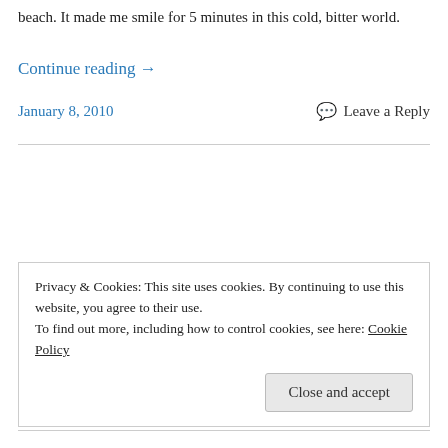beach.  It made me smile for 5 minutes in this cold, bitter world.
Continue reading →
January 8, 2010
💬 Leave a Reply
Privacy & Cookies: This site uses cookies. By continuing to use this website, you agree to their use.
To find out more, including how to control cookies, see here: Cookie Policy
Close and accept